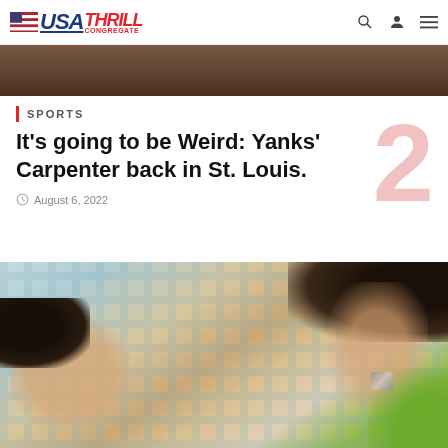USA Thrill Congregate — navigation bar with search, profile, and menu icons
[Figure (photo): Partial top image strip showing a dark brown background, appears to be a cropped article image]
SPORTS
It's going to be Weird: Yanks' Carpenter back in St. Louis.
August 6, 2022
[Figure (photo): Photo of a baby lying on a blue plaid blanket, laughing while an adult hand (person wearing a watch and green shorts) touches the baby's face]